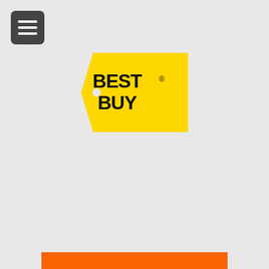[Figure (logo): Best Buy logo — yellow price-tag shape with black text 'BEST BUY']
[Figure (logo): The Home Depot logo — orange square with white stylized text 'THE HOME DEPOT']
GE Dishwasher Review GDT545PSJSS